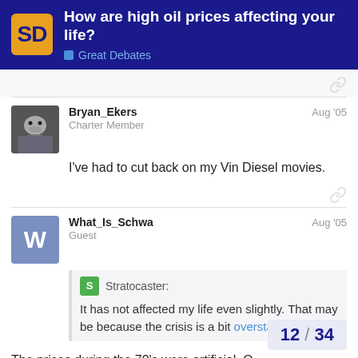How are high oil prices affecting your life? — Great Debates
Bryan_Ekers — Charter Member — Aug '05
I've had to cut back on my Vin Diesel movies.
What_Is_Schwa — Guest — Aug '05
Stratocaster: It has not affected my life even slightly. That may be because the crisis is a bit overstated:
The prices during the 70's were artificial. O
12 / 34